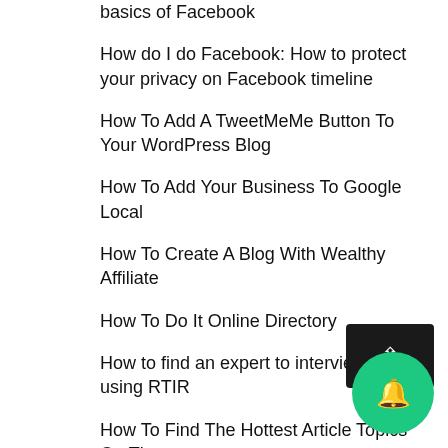basics of Facebook
How do I do Facebook: How to protect your privacy on Facebook timeline
How To Add A TweetMeMe Button To Your WordPress Blog
How To Add Your Business To Google Local
How To Create A Blog With Wealthy Affiliate
How To Do It Online Directory
How to find an expert to interview using RTIR
How To Find The Hottest Article Topics On The Web!
How To Get Free Traffic From Quora